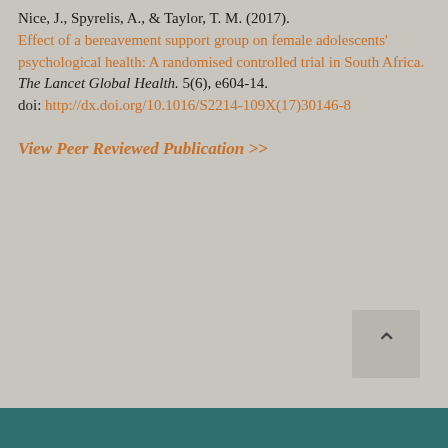Nice, J., Spyrelis, A., & Taylor, T. M. (2017). Effect of a bereavement support group on female adolescents' psychological health: A randomised controlled trial in South Africa. The Lancet Global Health. 5(6), e604-14. doi: http://dx.doi.org/10.1016/S2214-109X(17)30146-8
View Peer Reviewed Publication >>